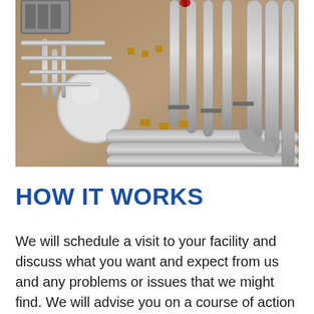[Figure (photo): Industrial plumbing and piping system mounted on a beige/tan wall, showing multiple large grey insulated pipes with bends and fittings, smaller silver pipes, brass valves, and a white spherical expansion tank on the left side.]
HOW IT WORKS
We will schedule a visit to your facility and discuss what you want and expect from us and any problems or issues that we might find. We will advise you on a course of action